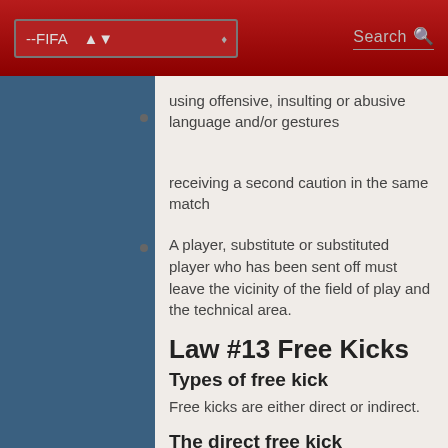--FIFA  Search
using offensive, insulting or abusive language and/or gestures
receiving a second caution in the same match
A player, substitute or substituted player who has been sent off must leave the vicinity of the field of play and the technical area.
Law #13 Free Kicks
Types of free kick
Free kicks are either direct or indirect.
The direct free kick
Ball enters the goal